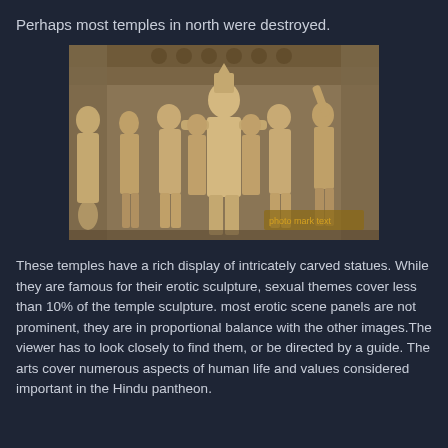Perhaps most temples in north were destroyed.
[Figure (photo): Photograph of intricately carved stone temple sculptures from Khajuraho, showing multiple deity and apsara figures in relief, with a central standing figure flanked by attendants.]
These temples have a rich display of intricately carved statues. While they are famous for their erotic sculpture, sexual themes cover less than 10% of the temple sculpture. most erotic scene panels are not prominent, they are in proportional balance with the other images.The viewer has to look closely to find them, or be directed by a guide. The arts cover numerous aspects of human life and values considered important in the Hindu pantheon.